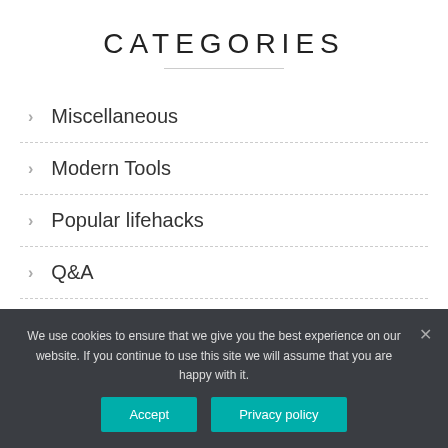CATEGORIES
Miscellaneous
Modern Tools
Popular lifehacks
Q&A
Social Media
We use cookies to ensure that we give you the best experience on our website. If you continue to use this site we will assume that you are happy with it.
Accept | Privacy policy